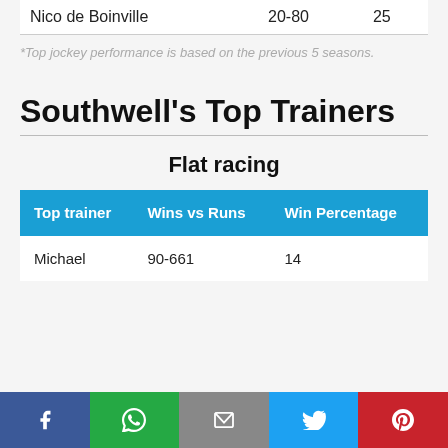| Top jockey | Wins vs Runs | Win Percentage |
| --- | --- | --- |
| Nico de Boinville | 20-80 | 25 |
*Top jockey performance is based on the previous 5 seasons.
Southwell's Top Trainers
Flat racing
| Top trainer | Wins vs Runs | Win Percentage |
| --- | --- | --- |
| Michael | 90-661 | 14 |